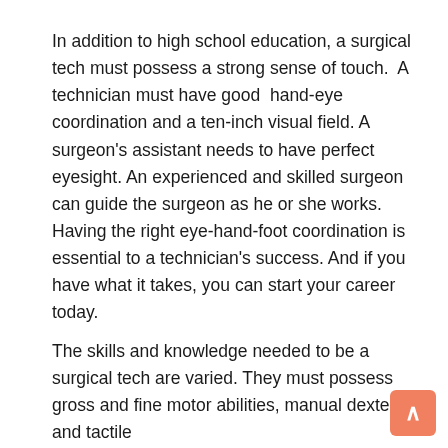In addition to high school education, a surgical tech must possess a strong sense of touch.  A technician must have good  hand-eye coordination and a ten-inch visual field. A surgeon's assistant needs to have perfect eyesight. An experienced and skilled surgeon can guide the surgeon as he or she works. Having the right eye-hand-foot coordination is essential to a technician's success. And if you have what it takes, you can start your career today.
The skills and knowledge needed to be a surgical tech are varied. They must possess gross and fine motor abilities, manual dexterity, and tactile